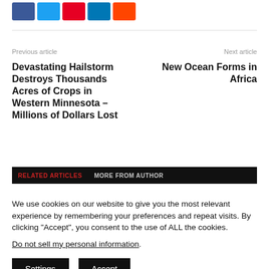[Figure (other): Row of social media share buttons: Facebook (blue), Twitter (cyan), Pinterest (red), LinkedIn (blue), Reddit (orange)]
Previous article
Next article
Devastating Hailstorm Destroys Thousands Acres of Crops in Western Minnesota – Millions of Dollars Lost
New Ocean Forms in Africa
RELATED ARTICLES   MORE FROM AUTHOR
We use cookies on our website to give you the most relevant experience by remembering your preferences and repeat visits. By clicking "Accept", you consent to the use of ALL the cookies.
Do not sell my personal information.
Settings    Accept